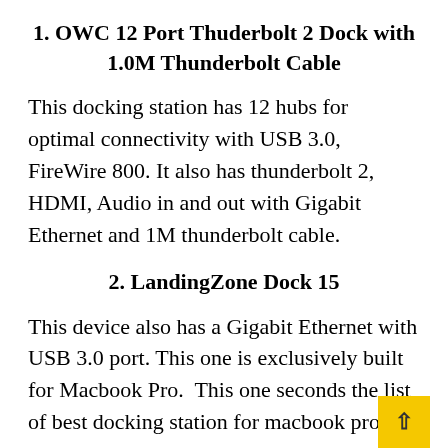1. OWC 12 Port Thuderbolt 2 Dock with 1.0M Thunderbolt Cable
This docking station has 12 hubs for optimal connectivity with USB 3.0, FireWire 800. It also has thunderbolt 2, HDMI, Audio in and out with Gigabit Ethernet and 1M thunderbolt cable.
2. LandingZone Dock 15
This device also has a Gigabit Ethernet with USB 3.0 port. This one is exclusively built for Macbook Pro.  This one seconds the list of best docking station for macbook pro.